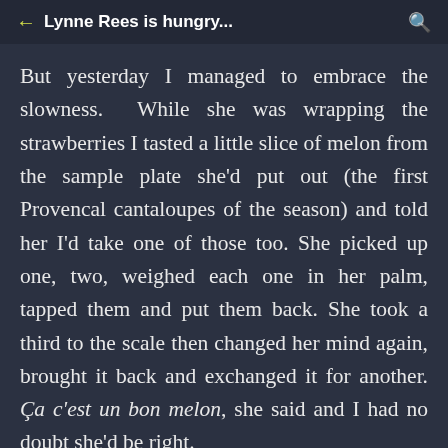Lynne Rees is hungry...
But yesterday I managed to embrace the slowness. While she was wrapping the strawberries I tasted a little slice of melon from the sample plate she'd put out (the first Provencal cantaloupes of the season) and told her I'd take one of those too. She picked up one, two, weighed each one in her palm, tapped them and put them back. She took a third to the scale then changed her mind again, brought it back and exchanged it for another. Ça c'est un bon melon, she said and I had no doubt she'd be right.